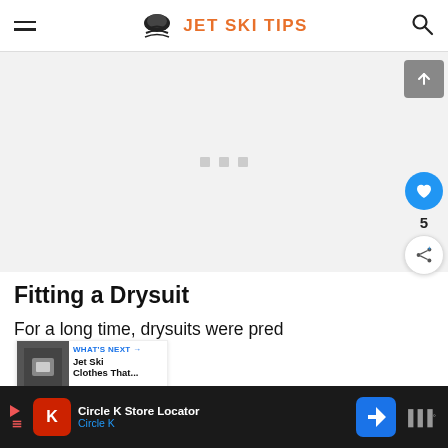JET SKI TIPS
[Figure (other): Advertisement placeholder area with three small gray squares centered on a light gray background]
Fitting a Drysuit
For a long time, drysuits were pred[ominantly] very loose-fitting. However, some companies have recently started making more form-fit[ting]
[Figure (other): What's Next promo box showing a jet ski jacket image with text: WHAT'S NEXT → Jet Ski Clothes That...]
[Figure (other): Bottom advertisement bar: Circle K Store Locator - Circle K, with navigation icon and mute/volume icon]